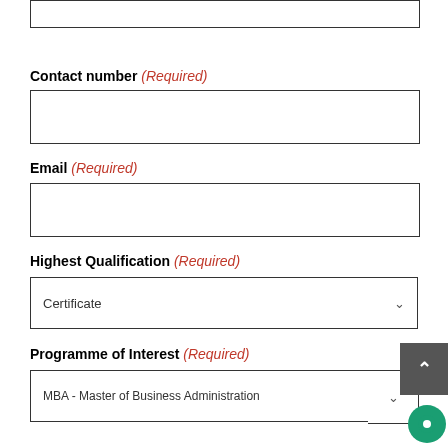Last
Contact number (Required)
Email (Required)
Highest Qualification (Required)
Certificate
Programme of Interest (Required)
MBA - Master of Business Administration